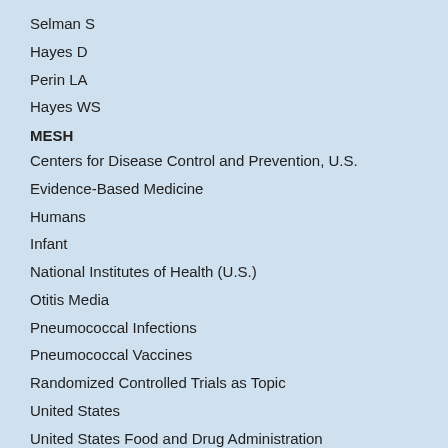Selman S
Hayes D
Perin LA
Hayes WS
MESH
Centers for Disease Control and Prevention, U.S.
Evidence-Based Medicine
Humans
Infant
National Institutes of Health (U.S.)
Otitis Media
Pneumococcal Infections
Pneumococcal Vaccines
Randomized Controlled Trials as Topic
United States
United States Food and Drug Administration
Vaccines, Conjugate